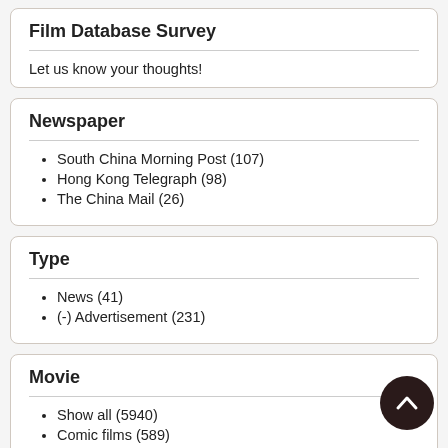Film Database Survey
Let us know your thoughts!
Newspaper
South China Morning Post (107)
Hong Kong Telegraph (98)
The China Mail (26)
Type
News (41)
(-) Advertisement (231)
Movie
Show all (5940)
Comic films (589)
British Gazette (398)
Comedy (325)